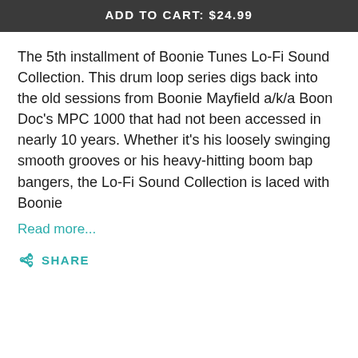ADD TO CART: $24.99
The 5th installment of Boonie Tunes Lo-Fi Sound Collection. This drum loop series digs back into the old sessions from Boonie Mayfield a/k/a Boon Doc's MPC 1000 that had not been accessed in nearly 10 years. Whether it's his loosely swinging smooth grooves or his heavy-hitting boom bap bangers, the Lo-Fi Sound Collection is laced with Boonie
Read more...
SHARE